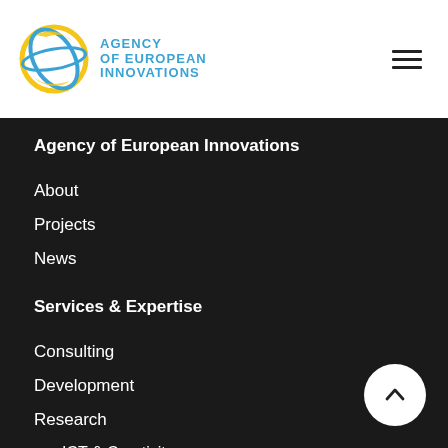[Figure (logo): Agency of European Innovations logo: yellow-blue globe with name in blue uppercase letters]
Agency of European Innovations
About
Projects
News
Services & Expertise
Consulting
Development
Research
ICT & Creativity
Digitalization & Smart Technology